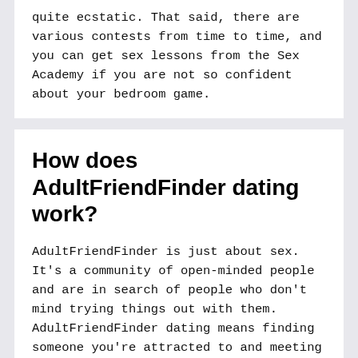quite ecstatic. That said, there are various contests from time to time, and you can get sex lessons from the Sex Academy if you are not so confident about your bedroom game.
How does AdultFriendFinder dating work?
AdultFriendFinder is just about sex. It's a community of open-minded people and are in search of people who don't mind trying things out with them.
AdultFriendFinder dating means finding someone you're attracted to and meeting up. It is similar to other dating sites, but it exceeds dating for love or some commitment. You may even be a member without looking to meet anyone.